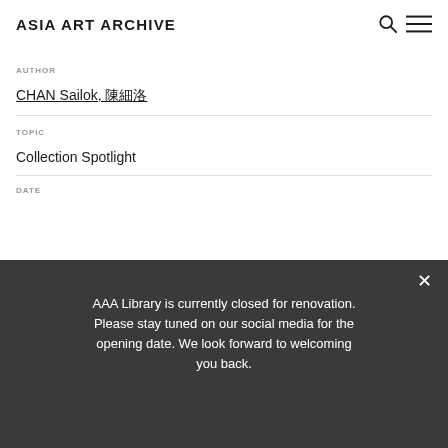ASIA ART ARCHIVE
AUTHOR
CHAN Sailok, 陳細洛
TOPIC
Collection Spotlight
DATE
AAA Library is currently closed for renovation. Please stay tuned on our social media for the opening date. We look forward to welcoming you back.